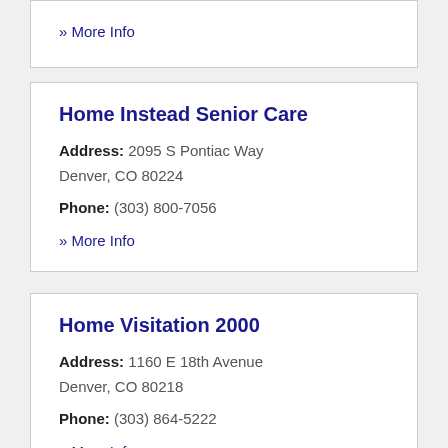» More Info
Home Instead Senior Care
Address: 2095 S Pontiac Way Denver, CO 80224
Phone: (303) 800-7056
» More Info
Home Visitation 2000
Address: 1160 E 18th Avenue Denver, CO 80218
Phone: (303) 864-5222
» More Info